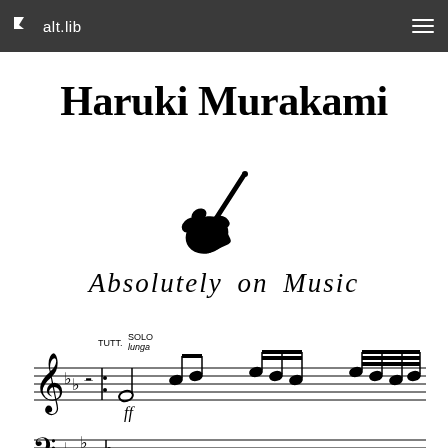alt.lib
Haruki Murakami
[Figure (illustration): Black silhouette of a hand holding a conductor's baton, pointing upward to the right]
Absolutely on Music
[Figure (illustration): Musical score excerpt showing treble and bass clef staves with notes, dynamics (ff), and markings TUTT., SOLO, lunga]